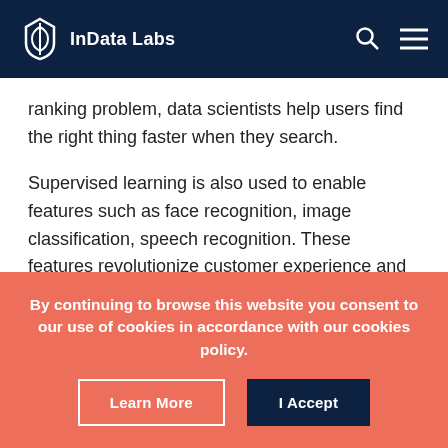InData Labs
ranking problem, data scientists help users find the right thing faster when they search.
Supervised learning is also used to enable features such as face recognition, image classification, speech recognition. These features revolutionize customer experience and make tech products more intuitive to use, like telling virtual assistants to schedule a meeting instead of accessing scheduling software to find a time, create an event, and
By continuing to browse this website you consent to our use of cookies in accordance with our cookies policy.
Learn More
I Accept